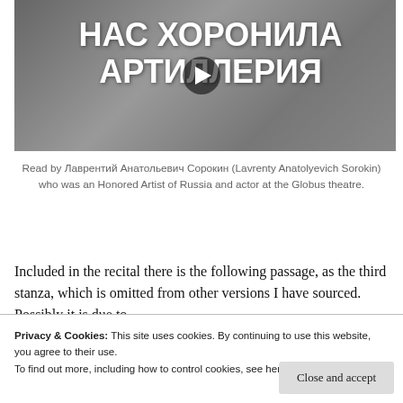[Figure (screenshot): Video thumbnail with Russian text 'НАС ХОРОНИЛА АРТИЛЛЕРИЯ' in white bold letters on a dark grey/blurred background, with a play button overlay]
Read by Лаврентий Анатольевич Сорокин (Lavrenty Anatolyevich Sorokin) who was an Honored Artist of Russia and actor at the Globus theatre.
Included in the recital there is the following passage, as the third stanza, which is omitted from other versions I have sourced. Possibly it is due to
Privacy & Cookies: This site uses cookies. By continuing to use this website, you agree to their use.
To find out more, including how to control cookies, see here: Cookie Policy
Close and accept